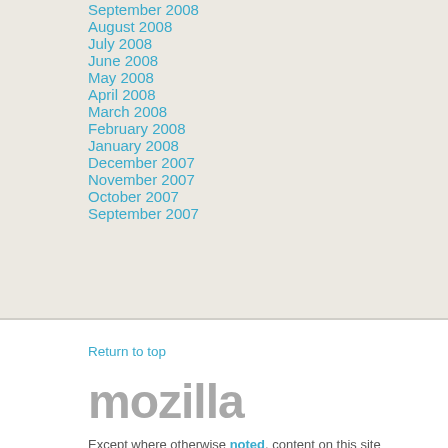September 2008
August 2008
July 2008
June 2008
May 2008
April 2008
March 2008
February 2008
January 2008
December 2007
November 2007
October 2007
September 2007
Return to top
mozilla
Except where otherwise noted, content on this site